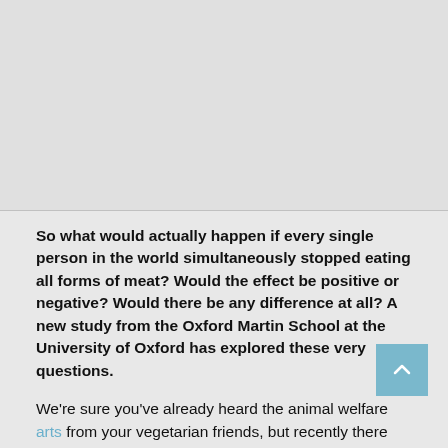[Figure (other): Gray placeholder image area at top of page]
So what would actually happen if every single person in the world simultaneously stopped eating all forms of meat? Would the effect be positive or negative? Would there be any difference at all? A new study from the Oxford Martin School at the University of Oxford has explored these very questions.
We're sure you've already heard the animal welfare arguments from your vegetarian friends, but recently there has been